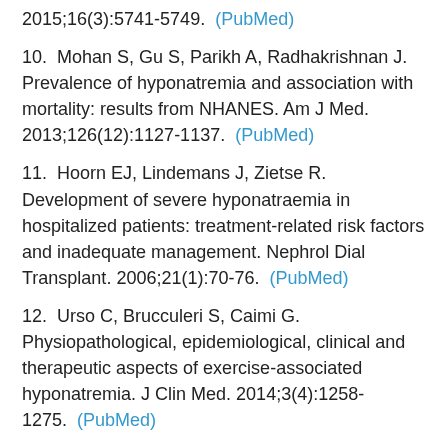2015;16(3):5741-5749. (PubMed)
10. Mohan S, Gu S, Parikh A, Radhakrishnan J. Prevalence of hyponatremia and association with mortality: results from NHANES. Am J Med. 2013;126(12):1127-1137. (PubMed)
11. Hoorn EJ, Lindemans J, Zietse R. Development of severe hyponatraemia in hospitalized patients: treatment-related risk factors and inadequate management. Nephrol Dial Transplant. 2006;21(1):70-76. (PubMed)
12. Urso C, Brucculeri S, Caimi G. Physiopathological, epidemiological, clinical and therapeutic aspects of exercise-associated hyponatremia. J Clin Med. 2014;3(4):1258-1275. (PubMed)
13. Giuliani C, Peri A. Effects of hyponatremia on the brain. J Clin Med. 2014;3(4):1163-1177. (PubMed)